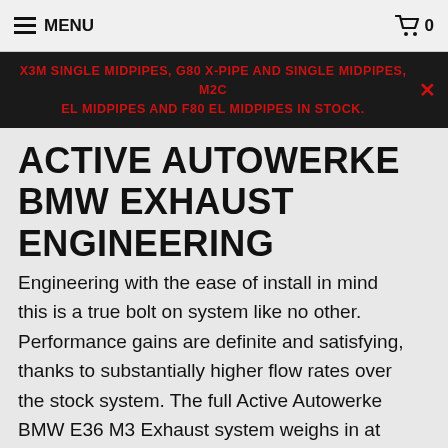MENU  0
X3M SINGLE MIDPIPES, G80 X-PIPE AND SINGLE MIDPIPES, M2C EL MIDPIPES AND F80 EL MIDPIPES IN STOCK.
ACTIVE AUTOWERKE BMW EXHAUST ENGINEERING
Engineering with the ease of install in mind this is a true bolt on system like no other. Performance gains are definite and satisfying, thanks to substantially higher flow rates over the stock system. The full Active Autowerke BMW E36 M3 Exhaust system weighs in at just 34lbs allowing for some much needed weight savings over the stock system. Emitting a F1 type sound when bolted onto a stock car with it's unique hexagon style muffler this system has